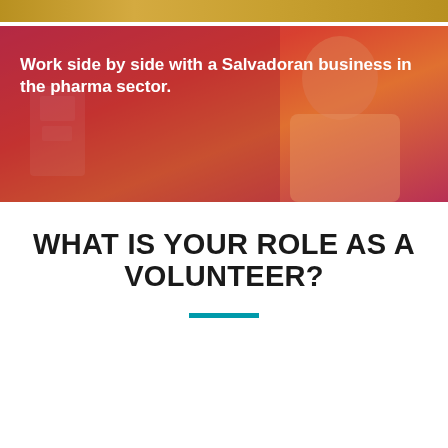[Figure (photo): Top strip of a photo showing golden/yellow decorative elements]
[Figure (photo): Photo of a man in a white lab coat working in a pharmaceutical laboratory, overlaid with a red-pink gradient tint, with bold white text overlay reading 'Work side by side with a Salvadoran business in the pharma sector.']
Work side by side with a Salvadoran business in the pharma sector.
WHAT IS YOUR ROLE AS A VOLUNTEER?